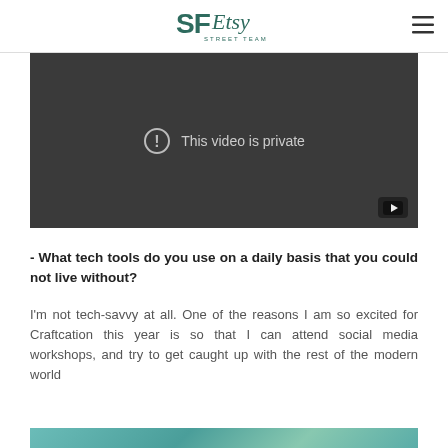SF Etsy Street Team logo and navigation
[Figure (screenshot): Embedded video player with dark background showing 'This video is private' message and YouTube icon in lower right corner]
- What tech tools do you use on a daily basis that you could not live without?
I'm not tech-savvy at all. One of the reasons I am so excited for Craftcation this year is so that I can attend social media workshops, and try to get caught up with the rest of the modern world
[Figure (photo): Partial colorful photo visible at the bottom of the page]